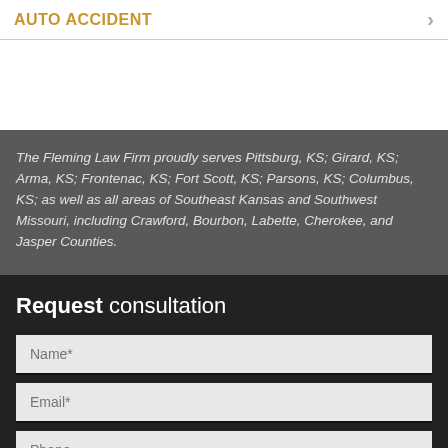AUTO ACCIDENT
The Fleming Law Firm proudly serves Pittsburg, KS; Girard, KS; Arma, KS; Frontenac, KS; Fort Scott, KS; Parsons, KS; Columbus, KS; as well as all areas of Southeast Kansas and Southwest Missouri, including Crawford, Bourbon, Labette, Cherokee, and Jasper Counties.
Request consultation
Name*
Email*
Phone